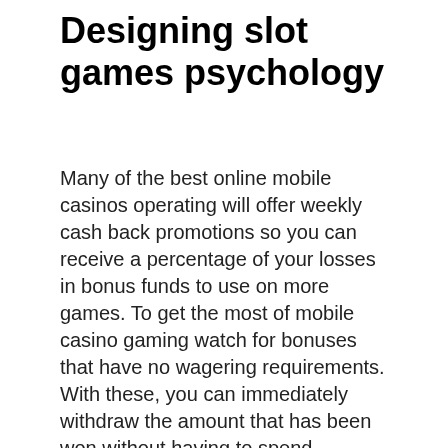Designing slot games psychology
Many of the best online mobile casinos operating will offer weekly cash back promotions so you can receive a percentage of your losses in bonus funds to use on more games. To get the most of mobile casino gaming watch for bonuses that have no wagering requirements. With these, you can immediately withdraw the amount that has been won without having to spend additional money to clear any specific requirements, designing slot games psychology. Welcome to house of jack, designing slot games psychology. There are two that do stand out from the crowd though. These are the following; BGO Casino new players get 20 free spins just for opening an account, designing slot games psychology. Make a deposit to get a 100%